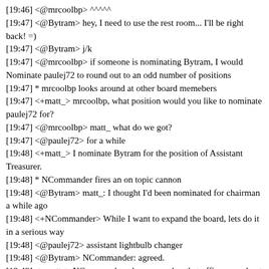[19:46] <@mrcoolbp> ^^^^^
[19:47] <@Bytram> hey, I need to use the rest room... I'll be right back! =)
[19:47] <@Bytram> j/k
[19:47] <@mrcoolbp> if someone is nominating Bytram, I would Nominate paulej72 to round out to an odd number of positions
[19:47] * mrcoolbp looks around at other board memebers
[19:47] <+matt_> mrcoolbp, what position would you like to nominate paulej72 for?
[19:47] <@mrcoolbp> matt_ what do we got?
[19:47] <@paulej72> for a while
[19:48] <+matt_> I nominate Bytram for the position of Assistant Treasurer.
[19:48] * NCommander fires an on topic cannon
[19:48] <@Bytram> matt_: I thought I'd been nominated for chairman a while ago
[19:48] <+NCommander> While I want to expand the board, lets do it in a serious way
[19:48] <@paulej72> assistant lightbulb changer
[19:48] <@Bytram> NCommander: agreed.
[19:49] <+matt_> NCommander, also, remember that officers need not be board members.
[19:49] <@Bytram> topic at hand: "Issue 5: Treasurer's Reports -